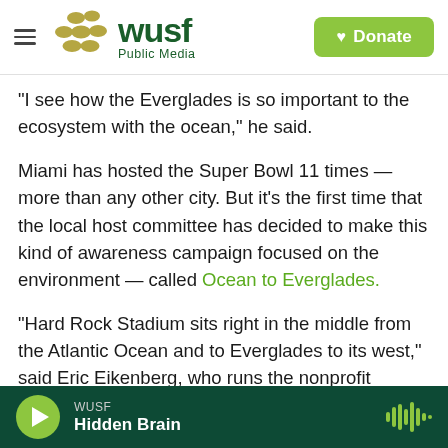[Figure (logo): WUSF Public Media logo with pebble/dot graphic and Donate button in header]
“I see how the Everglades is so important to the ecosystem with the ocean,” he said.
Miami has hosted the Super Bowl 11 times — more than any other city. But it’s the first time that the local host committee has decided to make this kind of awareness campaign focused on the environment — called Ocean to Everglades.
“Hard Rock Stadium sits right in the middle from the Atlantic Ocean and to Everglades to its west,” said Eric Eikenberg, who runs the nonprofit Everglades Foundation, one of the main groups
WUSF | Hidden Brain